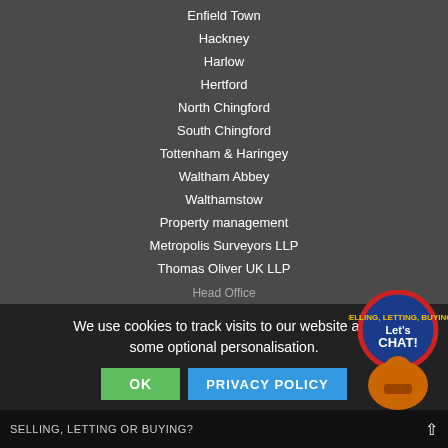Enfield Town
Hackney
Harlow
Hertford
North Chingford
South Chingford
Tottenham & Haringey
Waltham Abbey
Walthamstow
Property management
Metropolis Surveyors LLP
Thomas Oliver UK LLP
Head Office
We use cookies to track visits to our website and some optional personalisation.
OK   PRIVACY POLICY
SELLING, LETTING OR BUYING?